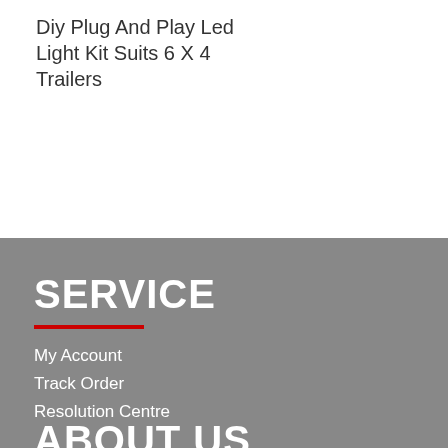Diy Plug And Play Led Light Kit Suits 6 X 4 Trailers
SERVICE
My Account
Track Order
Resolution Centre
ABOUT US